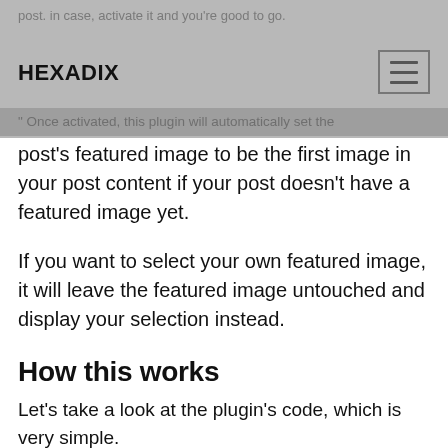HEXADIX
Once activated, this plugin will automatically set the post’s featured image to be the first image in your post content if your post doesn’t have a featured image yet.
If you want to select your own featured image, it will leave the featured image untouched and display your selection instead.
How this works
Let’s take a look at the plugin’s code, which is very simple.
[Figure (screenshot): Code block showing PHP: if ( function_exists( 'add_theme_support' ) ) { add_theme_support( 'post-thumbnails' ); // This sh... function easy_add_thumbnail($post) {]